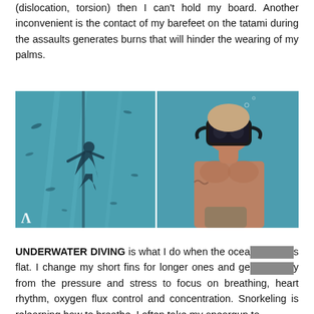(dislocation, torsion) then I can't hold my board. Another inconvenient is the contact of my barefeet on the tatami during the assaults generates burns that will hinder the wearing of my palms.
[Figure (photo): Two underwater photos side by side: left shows a freediver underwater with fish, right shows a muscular man wearing a diving mask underwater holding something.]
UNDERWATER DIVING is what I do when the ocean is flat. I change my short fins for longer ones and get away from the pressure and stress to focus on breathing, heart rhythm, oxygen flux control and concentration. Snorkeling is relearning how to breathe. I often take my speargun to